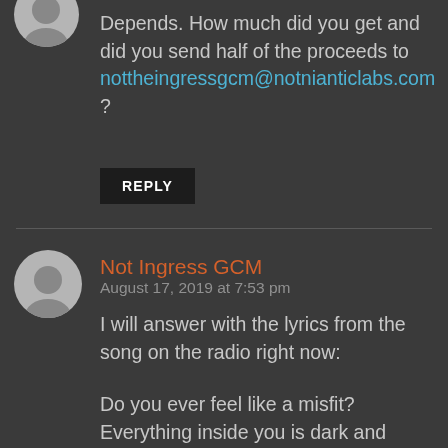Depends. How much did you get and did you send half of the proceeds to nottheingressgcm@notnianticlabs.com ?
REPLY
Not Ingress GCM  August 17, 2019 at 7:53 pm
I will answer with the lyrics from the song on the radio right now:

Do you ever feel like a misfit? Everything inside you is dark and